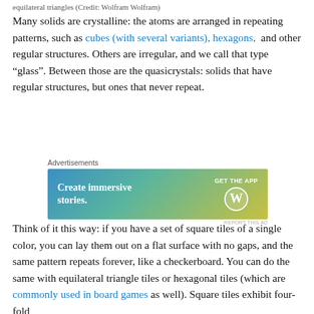equilateral triangles (Credit: Wolfram Wolfram)
Many solids are crystalline: the atoms are arranged in repeating patterns, such as cubes (with several variants), hexagons, and other regular structures. Others are irregular, and we call that type “glass”. Between those are the quasicrystals: solids that have regular structures, but ones that never repeat.
[Figure (other): Advertisement banner for WordPress: 'Create immersive stories. GET THE APP' with WordPress logo on gradient blue-green-yellow background.]
Think of it this way: if you have a set of square tiles of a single color, you can lay them out on a flat surface with no gaps, and the same pattern repeats forever, like a checkerboard. You can do the same with equilateral triangle tiles or hexagonal tiles (which are commonly used in board games as well). Square tiles exhibit four-fold